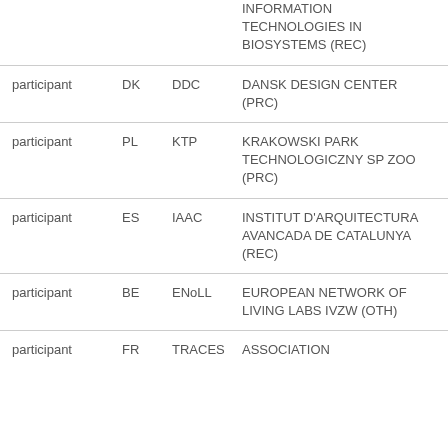|  |  |  |  |
| --- | --- | --- | --- |
|  |  |  | INFORMATION TECHNOLOGIES IN BIOSYSTEMS (REC) |
| participant | DK | DDC | DANSK DESIGN CENTER (PRC) |
| participant | PL | KTP | KRAKOWSKI PARK TECHNOLOGICZNY SP ZOO (PRC) |
| participant | ES | IAAC | INSTITUT D'ARQUITECTURA AVANCADA DE CATALUNYA (REC) |
| participant | BE | ENoLL | EUROPEAN NETWORK OF LIVING LABS IVZW (OTH) |
| participant | FR | TRACES | ASSOCIATION |